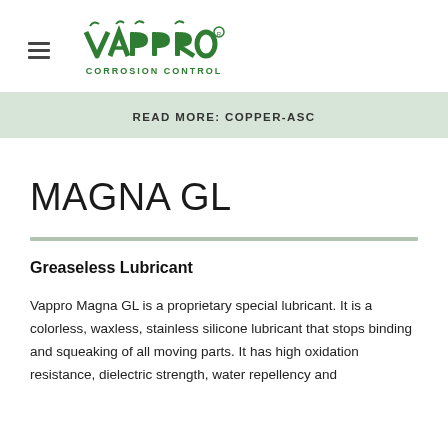VAPPRO CORROSION CONTROL
READ MORE: COPPER-ASC
MAGNA GL
Greaseless Lubricant
Vappro Magna GL is a proprietary special lubricant. It is a colorless, waxless, stainless silicone lubricant that stops binding and squeaking of all moving parts. It has high oxidation resistance, dielectric strength, water repellency and